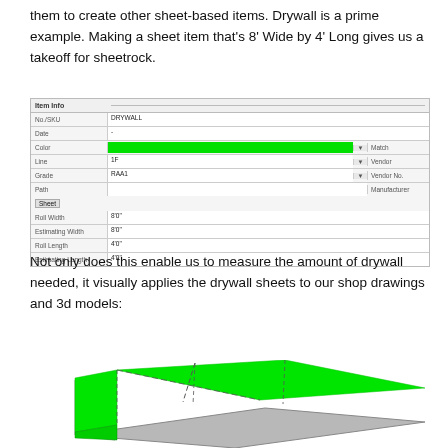them to create other sheet-based items. Drywall is a prime example. Making a sheet item that's 8' Wide by 4' Long gives us a takeoff for sheetrock.
[Figure (screenshot): Software dialog showing item info form with fields: Item Info header, No./SKU: DRYWALL, Date, Color (green bar), Line: 1F, Grade: RAA1, Path. Right side columns: Match, Vendor, Vendor No., Manufacturer. Below a 'Sheet' tag section with Roll Width: 8'0", Estimating Width: 8'0", Roll Length: 4'0", Estimating Length: 4'0"]
Not only does this enable us to measure the amount of drywall needed, it visually applies the drywall sheets to our shop drawings and 3d models:
[Figure (screenshot): 3D model view showing green drywall sheets applied to a surface with gray frame, dashed lines indicating sheet divisions]